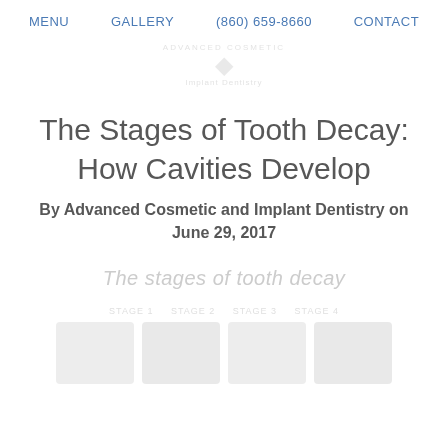MENU   GALLERY   (860) 659-8660   CONTACT
[Figure (logo): Dental practice logo with shield icon and text, faded/watermark style]
The Stages of Tooth Decay: How Cavities Develop
By Advanced Cosmetic and Implant Dentistry on June 29, 2017
[Figure (photo): Watermark text reading 'The stages of tooth decay' with faded dental/tooth images below]